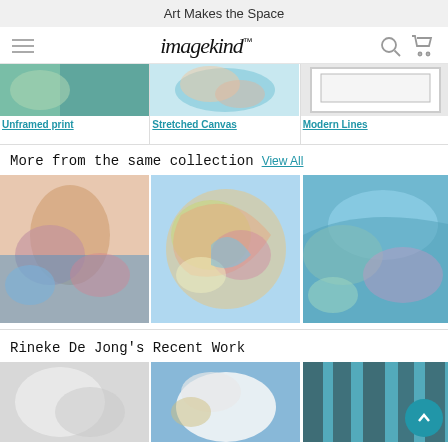Art Makes the Space
[Figure (logo): Imagekind logo with hamburger menu, search icon, and cart icon in navigation bar]
[Figure (screenshot): Three framing option thumbnails: Unframed print (colorful art), Stretched Canvas (colorful swirl art), Modern Lines (white framed art)]
More from the same collection   View All
[Figure (photo): Three artwork images in a gallery grid showing abstract colorful paintings]
Rineke De Jong's Recent Work
[Figure (photo): Three recent artwork thumbnails showing animals/abstract work]